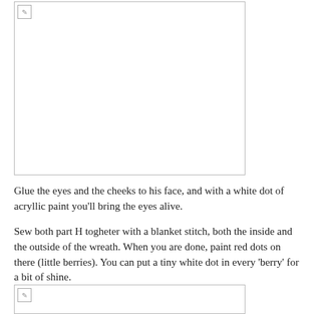[Figure (photo): A placeholder image box at the top of the page, mostly blank with a broken image icon in the top-left corner.]
Glue the eyes and the cheeks to his face, and with a white dot of acryllic paint you’ll bring the eyes alive.
Sew both part H togheter with a blanket stitch, both the inside and the outside of the wreath. When you are done, paint red dots on there (little berries). You can put a tiny white dot in every ‘berry’ for a bit of shine.
[Figure (photo): A second placeholder image box at the bottom of the page with a broken image icon in the top-left corner.]